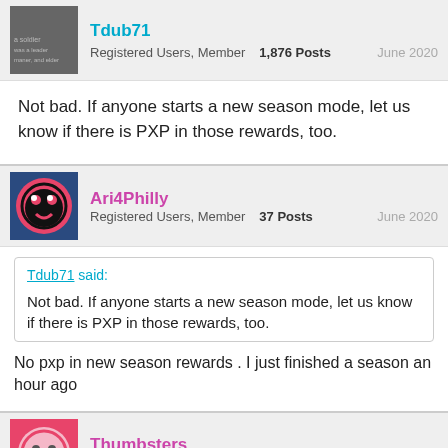Tdub71 — Registered Users, Member — 1,876 Posts — June 2020
Not bad.  If anyone starts a new season mode, let us know if there is PXP in those rewards, too.
Ari4Philly — Registered Users, Member — 37 Posts — June 2020
Tdub71 said:
Not bad.  If anyone starts a new season mode, let us know if there is PXP in those rewards, too.

No pxp in new season rewards . I just finished a season an hour ago
Thumbsters — Registered Users, Member — 267 Posts — June 2020